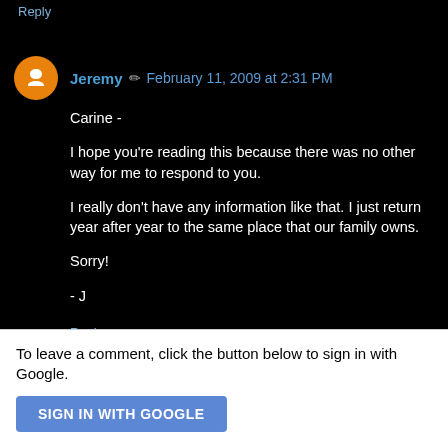Reply
Jeremy / February 11, 2009 at 2:31 PM
Carine -

I hope you're reading this because there was no other way for me to respond to you.

I really don't have any information like that. I just return year after year to the same place that our family owns.

Sorry!

- J
Reply
To leave a comment, click the button below to sign in with Google.
SIGN IN WITH GOOGLE